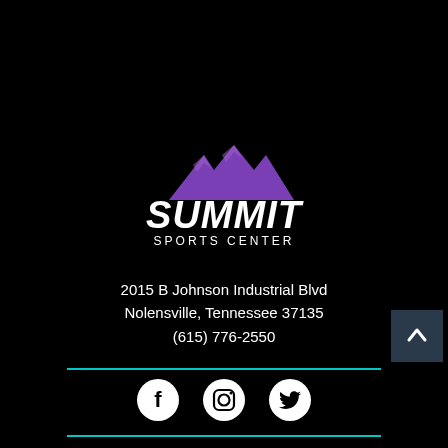[Figure (logo): Summit Sports Center logo: purple mountain peaks above bold white italic text 'SUMMIT' and smaller white text 'SPORTS CENTER' on black background]
2015 B Johnson Industrial Blvd
Nolensville, Tennessee 37135
(615) 776-2550
[Figure (illustration): Teal horizontal divider line followed by three social media icons (Facebook, Instagram, Twitter) in white circles on black background, then another teal divider line]